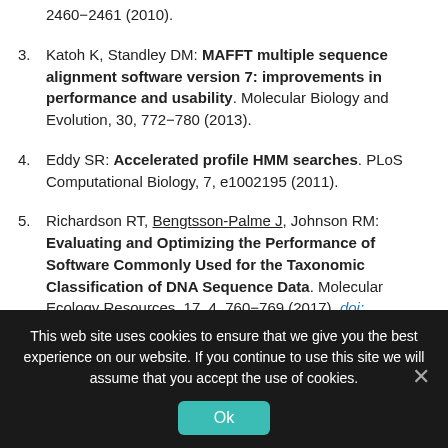2460–2461 (2010).
3. Katoh K, Standley DM: MAFFT multiple sequence alignment software version 7: improvements in performance and usability. Molecular Biology and Evolution, 30, 772–780 (2013).
4. Eddy SR: Accelerated profile HMM searches. PLoS Computational Biology, 7, e1002195 (2011).
5. Richardson RT, Bengtsson-Palme J, Johnson RM: Evaluating and Optimizing the Performance of Software Commonly Used for the Taxonomic Classification of DNA Sequence Data. Molecular Ecology Resources, 17, 4, 760–769 (2017). doi: 10.1111/1755-0998.12628
This web site uses cookies to ensure that we give you the best experience on our website. If you continue to use this site we will assume that you accept the use of cookies.